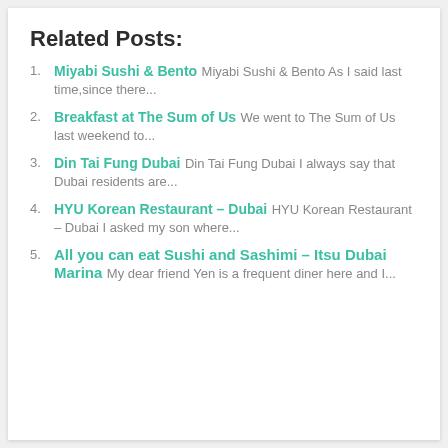Related Posts:
Miyabi Sushi & Bento Miyabi Sushi & Bento As I said last time,since there...
Breakfast at The Sum of Us We went to The Sum of Us last weekend to...
Din Tai Fung Dubai Din Tai Fung Dubai I always say that Dubai residents are...
HYU Korean Restaurant – Dubai HYU Korean Restaurant – Dubai I asked my son where...
All you can eat Sushi and Sashimi – Itsu Dubai Marina My dear friend Yen is a frequent diner here and I...